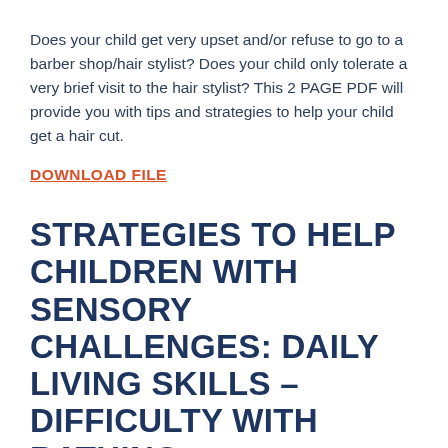Does your child get very upset and/or refuse to go to a barber shop/hair stylist? Does your child only tolerate a very brief visit to the hair stylist? This 2 PAGE PDF will provide you with tips and strategies to help your child get a hair cut.
DOWNLOAD FILE
STRATEGIES TO HELP CHILDREN WITH SENSORY CHALLENGES: DAILY LIVING SKILLS – DIFFICULTY WITH BATHING